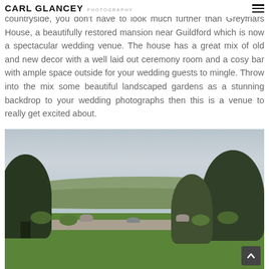CARL GLANCEY PHOTOGRAPHY
countryside, you don't have to look much further than Greyfriars House, a beautifully restored mansion near Guildford which is now a spectacular wedding venue. The house has a great mix of old and new decor with a well laid out ceremony room and a cosy bar with ample space outside for your wedding guests to mingle. Throw into the mix some beautiful landscaped gardens as a stunning backdrop to your wedding photographs then this is a venue to really get excited about.
[Figure (photo): Outdoor garden view of Greyfriars House wedding venue near Guildford, showing a landscaped terrace with topiary bushes, stone urns, a fountain, large trees on left and right, rolling hills and countryside in the background under a cloudy sky.]